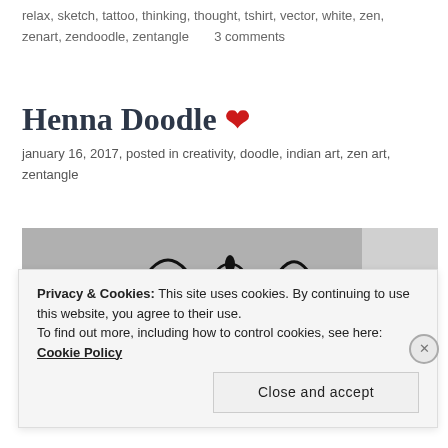relax, sketch, tattoo, thinking, thought, tshirt, vector, white, zen, zenart, zendoodle, zentangle     3 comments
Henna Doodle ❤
january 16, 2017, posted in creativity, doodle, indian art, zen art, zentangle
[Figure (photo): Black and white henna doodle illustration on a grey background, showing an ornate floral and bird zentangle pattern.]
Privacy & Cookies: This site uses cookies. By continuing to use this website, you agree to their use. To find out more, including how to control cookies, see here: Cookie Policy
Close and accept